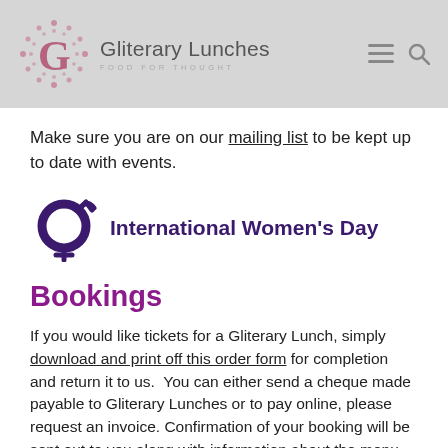Gliterary Lunches — FOOD FOR THOUGHT
Make sure you are on our mailing list to be kept up to date with events.
[Figure (logo): International Women's Day logo — purple circular arrow icon with female symbol, next to bold text 'International Women's Day']
Bookings
If you would like tickets for a Gliterary Lunch, simply download and print off this order form for completion and return it to us.  You can either send a cheque made payable to Gliterary Lunches or to pay online, please request an invoice. Confirmation of your booking will be sent out to you along with information about the menu, table planning and how to